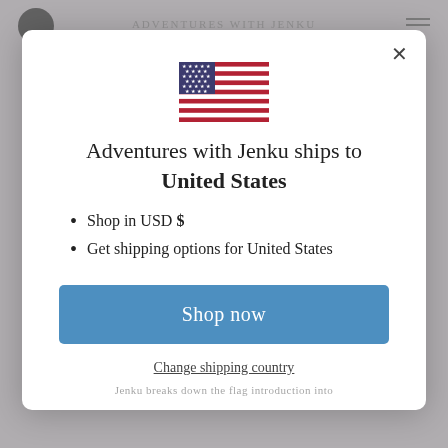[Figure (screenshot): Website background with blurred header and bottom text]
[Figure (illustration): US flag emoji/icon displayed in modal dialog]
Adventures with Jenku ships to United States
Shop in USD $
Get shipping options for United States
Shop now
Change shipping country